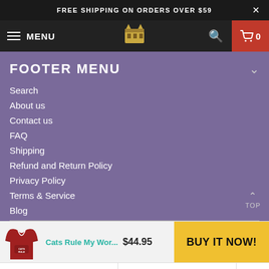FREE SHIPPING ON ORDERS OVER $59
FOOTER MENU
Search
About us
Contact us
FAQ
Shipping
Refund and Return Policy
Privacy Policy
Terms & Service
Blog
[Figure (screenshot): E-commerce buy bar showing a red hoodie product image, title 'Cats Rule My Wor...', price $44.95, and a yellow BUY IT NOW! button]
Red   S   1